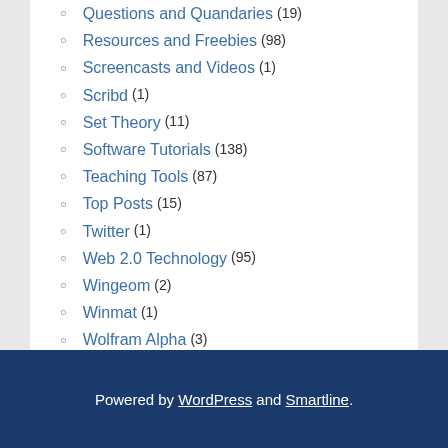Questions and Quandaries (19)
Resources and Freebies (98)
Screencasts and Videos (1)
Scribd (1)
Set Theory (11)
Software Tutorials (138)
Teaching Tools (87)
Top Posts (15)
Twitter (1)
Web 2.0 Technology (95)
Wingeom (2)
Winmat (1)
Wolfram Alpha (3)
Wordpress (10)
Powered by WordPress and Smartline.